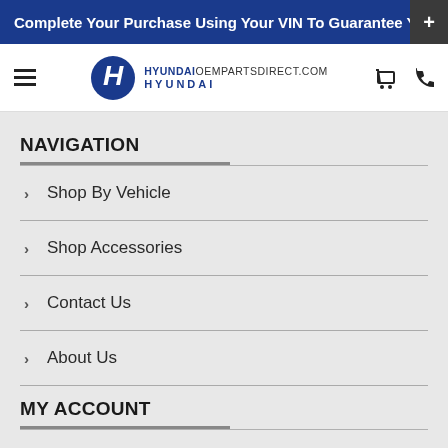Complete Your Purchase Using Your VIN To Guarantee Y
[Figure (logo): Hyundai OEM Parts Direct logo with hamburger menu, cart and phone icons in navigation bar]
NAVIGATION
Shop By Vehicle
Shop Accessories
Contact Us
About Us
MY ACCOUNT
My Account